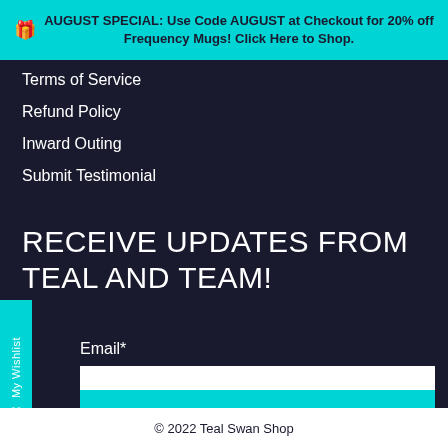AUGUST SPECIAL: Use Code AUGUST at Checkout for 20% off Frequency Mugs! Click Here to Shop.
Terms of Service
Refund Policy
Inward Outing
Submit Testimonial
RECEIVE UPDATES FROM TEAL AND TEAM!
Email*
Sign Up
© 2022 Teal Swan Shop